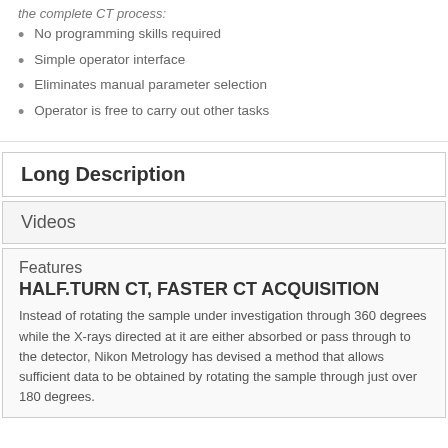the complete CT process:
No programming skills required
Simple operator interface
Eliminates manual parameter selection
Operator is free to carry out other tasks
Long Description
Videos
Features
HALF.TURN CT, FASTER CT ACQUISITION
Instead of rotating the sample under investigation through 360 degrees while the X-rays directed at it are either absorbed or pass through to the detector, Nikon Metrology has devised a method that allows sufficient data to be obtained by rotating the sample through just over 180 degrees.